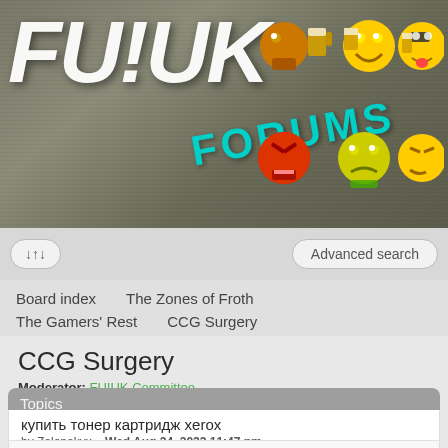[Figure (screenshot): FU!UK Forums website header banner with graffiti-style logo text, FORUMS in teal, and pixel emoji faces on dark background]
Advanced search
Board index   The Zones of Froth
The Gamers' Rest   CCG Surgery
CCG Surgery
Moderator: FU!UK Committee
Topics
купить тонер картридж xerox
by Zelenakvx » Wed Aug 24, 2022 11:47 pm
A lawsuit filed by an Englewood man to remove — rows